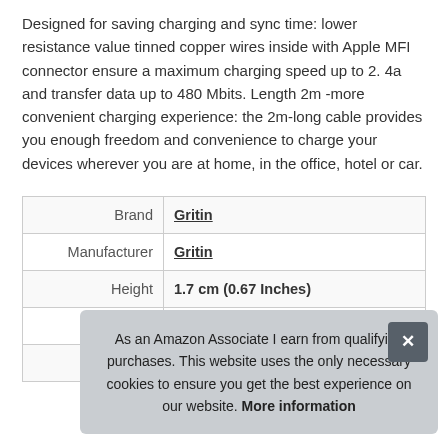Designed for saving charging and sync time: lower resistance value tinned copper wires inside with Apple MFI connector ensure a maximum charging speed up to 2. 4a and transfer data up to 480 Mbits. Length 2m -more convenient charging experience: the 2m-long cable provides you enough freedom and convenience to charge your devices wherever you are at home, in the office, hotel or car.
|  |  |
| --- | --- |
| Brand | Gritin |
| Manufacturer | Gritin |
| Height | 1.7 cm (0.67 Inches) |
| P |  |
| Model | DEJDAE |
As an Amazon Associate I earn from qualifying purchases. This website uses the only necessary cookies to ensure you get the best experience on our website. More information